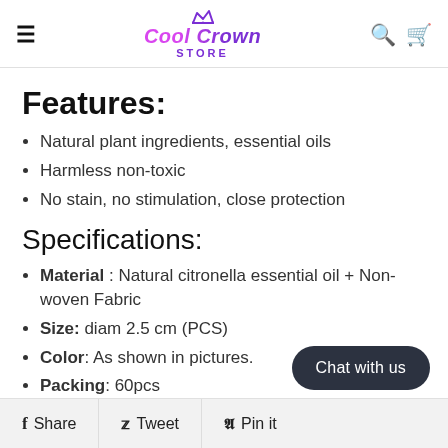Cool Crown Store
Features:
Natural plant ingredients, essential oils
Harmless non-toxic
No stain, no stimulation, close protection
Specifications:
Material : Natural citronella essential oil + Non-woven Fabric
Size: diam 2.5 cm (PCS)
Color: As shown in pictures.
Packing: 60pcs
Share  Tweet  Pin it